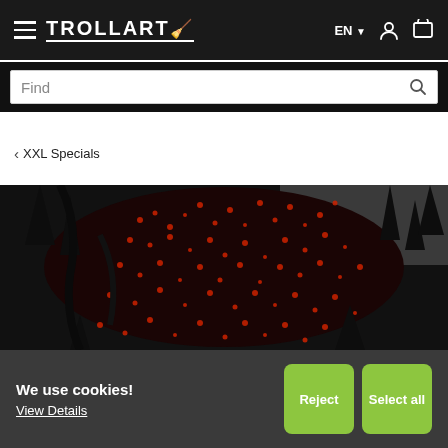TROLLART — EN — navigation icons
Find
‹ XXL Specials
[Figure (photo): Close-up photo of a decorative art piece featuring black and red sparkly/sequined texture with spiky black elements, resembling a dragon or fantasy creature sculpture.]
We use cookies!
View Details
Reject
Select all